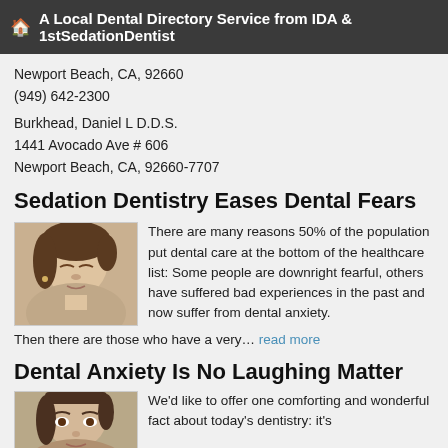🏠 A Local Dental Directory Service from IDA & 1stSedationDentist
Newport Beach, CA, 92660
(949) 642-2300
Burkhead, Daniel L D.D.S.
1441 Avocado Ave # 606
Newport Beach, CA, 92660-7707
Sedation Dentistry Eases Dental Fears
[Figure (photo): Close-up photo of a woman with eyes closed, appearing relaxed]
There are many reasons 50% of the population put dental care at the bottom of the healthcare list: Some people are downright fearful, others have suffered bad experiences in the past and now suffer from dental anxiety. Then there are those who have a very… read more
Dental Anxiety Is No Laughing Matter
[Figure (photo): Close-up photo of a woman's face looking forward]
We'd like to offer one comforting and wonderful fact about today's dentistry: it's